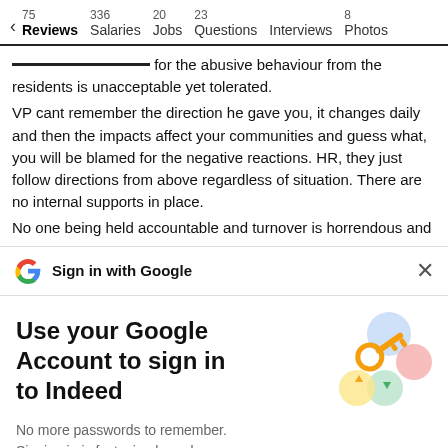75 Reviews | 336 Salaries | 20 Jobs | 23 Questions | Interviews | 8 Photos
for the abusive behaviour from the residents is unacceptable yet tolerated.
VP cant remember the direction he gave you, it changes daily and then the impacts affect your communities and guess what, you will be blamed for the negative reactions. HR, they just follow directions from above regardless of situation. There are no internal supports in place.
No one being held accountable and turnover is horrendous and
Sign in with Google
Use your Google Account to sign in to Indeed
No more passwords to remember.
Signing in is fast, simple and secure.
Continue